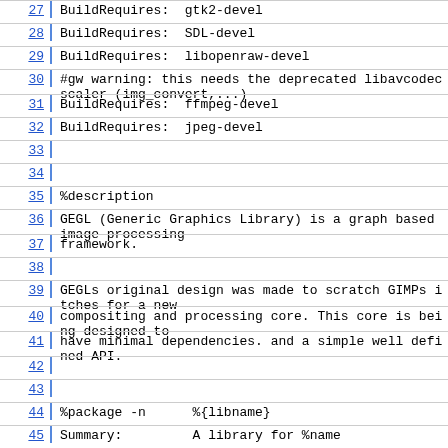27  BuildRequires:  gtk2-devel
28  BuildRequires:  SDL-devel
29  BuildRequires:  libopenraw-devel
30  #gw warning: this needs the deprecated libavcodec scaler (img_convert,...)
31  BuildRequires:  ffmpeg-devel
32  BuildRequires:  jpeg-devel
33
34
35  %description
36  GEGL (Generic Graphics Library) is a graph based image processing
37  framework.
38
39  GEGLs original design was made to scratch GIMPs itches for a new
40  compositing and processing core. This core is being designed to
41  have minimal dependencies. and a simple well defined API.
42
43
44  %package -n      %{libname}
45  Summary:         A library for %name